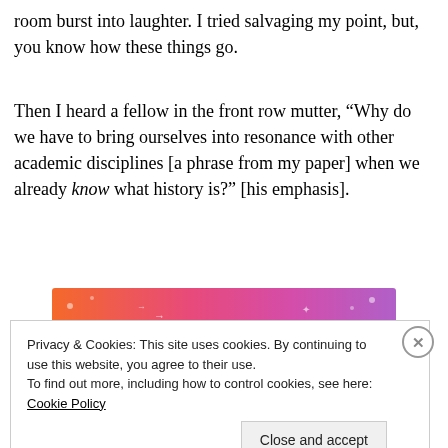room burst into laughter. I tried salvaging my point, but, you know how these things go.
Then I heard a fellow in the front row mutter, “Why do we have to bring ourselves into resonance with other academic disciplines [a phrase from my paper] when we already know what history is?” [his emphasis].
[Figure (illustration): Tumblr colorful banner with orange-to-purple gradient background and decorative doodle elements, with the word 'tumblr' in large black bold text]
Privacy & Cookies: This site uses cookies. By continuing to use this website, you agree to their use.
To find out more, including how to control cookies, see here: Cookie Policy
Close and accept